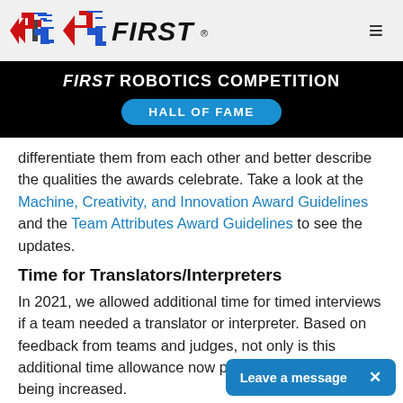FIRST [logo] ≡
[Figure (infographic): FIRST Robotics Competition Hall of Fame banner — black background with white bold italic text 'FIRST ROBOTICS COMPETITION' and a blue pill-shaped badge reading 'HALL OF FAME']
differentiate them from each other and better describe the qualities the awards celebrate. Take a look at the Machine, Creativity, and Innovation Award Guidelines and the Team Attributes Award Guidelines to see the updates.
Time for Translators/Interpreters
In 2021, we allowed additional time for timed interviews if a team needed a translator or interpreter. Based on feedback from teams and judges, not only is this additional time allowance now permanent, but it is also being increased.
Students who need a translator for awards for the Dean's List Award may use up to 5 additional minutes. For the